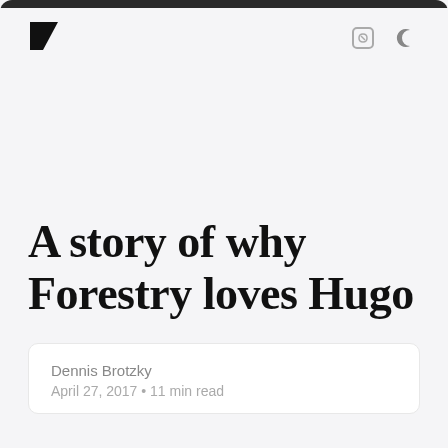A story of why Forestry loves Hugo
Dennis Brotzky
April 27, 2017 • 11 min read